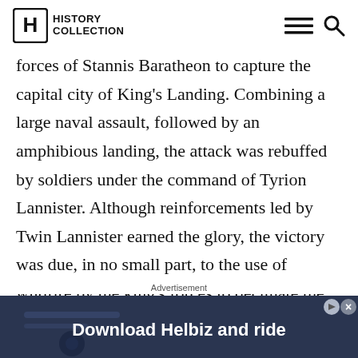History Collection
forces of Stannis Baratheon to capture the capital city of King's Landing. Combining a large naval assault, followed by an amphibious landing, the attack was rebuffed by soldiers under the command of Tyrion Lannister. Although reinforcements led by Twin Lannister earned the glory, the victory was due, in no small part, to the use of wildfire by the king's forces to decimate the Baratheon fleet. Although compressing the events
Advertisement
[Figure (photo): Advertisement banner: Download Helbiz and ride, showing a scooter handlebar]